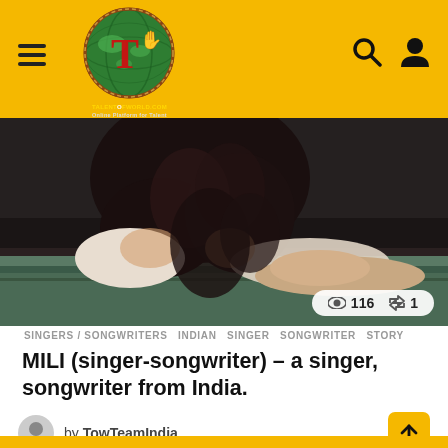TALENT OF WORLD.COM — Online Platform for Talent
[Figure (photo): Woman with long dark hair wearing a white lace top, leaning forward on a green painted surface, viewed from above. Stats overlay shows 116 views and 1 share.]
SINGERS / SONGWRITERS   INDIAN   SINGER   SONGWRITER   STORY
MILI (singer-songwriter) – a singer, songwriter from India.
by TowTeamIndia